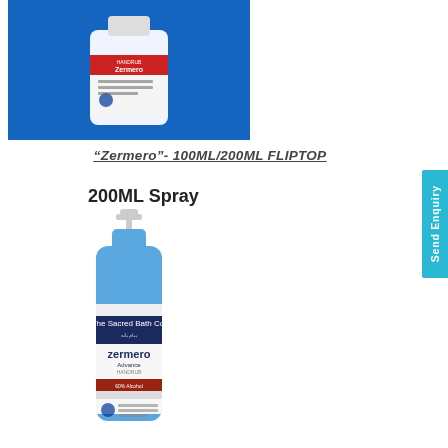[Figure (photo): Zermero Advance handrub bottle (100ml) on a blue background, white bottle with red and blue label]
“Zermero”- 100ML/200ML FLIPTOP
[Figure (photo): Zermero Advance 200ML Spray bottle with pump top, blue bottle with blue and white label, on white background. Text '200ML Spray' at top.]